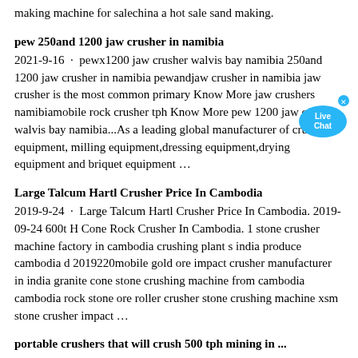making machine for salechina a hot sale sand making.
pew 250and 1200 jaw crusher in namibia
2021-9-16 · pewx1200 jaw crusher walvis bay namibia 250and 1200 jaw crusher in namibia pewandjaw crusher in namibia jaw crusher is the most common primary Know More jaw crushers namibiamobile rock crusher tph Know More pew 1200 jaw crusher walvis bay namibia...As a leading global manufacturer of crushing equipment, milling equipment,dressing equipment,drying equipment and briquet equipment …
Large Talcum Hartl Crusher Price In Cambodia
2019-9-24 · Large Talcum Hartl Crusher Price In Cambodia. 2019-09-24 600t H Cone Rock Crusher In Cambodia. 1 stone crusher machine factory in cambodia crushing plant s india produce cambodia d 2019220mobile gold ore impact crusher manufacturer in india granite cone stone crushing machine from cambodia cambodia rock stone ore roller crusher stone crushing machine xsm stone crusher impact …
portable crushers that will crush 500 tph mining in ...
2020-9-23 · portable crushers that will crush 500 tph mining in liberia. Portable Crushers That Will Crush 500 Tph Mining ,portable crushers that will crush 500 tph mining portable crushers that will crush 500 tph mining Jaw Crusher Jaw Crusher Can be widely used in quarrying stone mining…